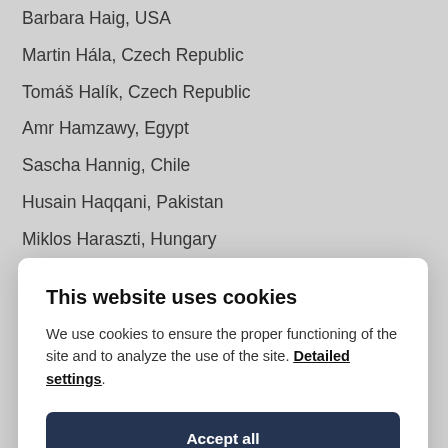Barbara Haig, USA
Martin Hála, Czech Republic
Tomáš Halík, Czech Republic
Amr Hamzawy, Egypt
Sascha Hannig, Chile
Husain Haqqani, Pakistan
Miklos Haraszti, Hungary
Robert Hardh, Sweden
This website uses cookies
We use cookies to ensure the proper functioning of the site and to analyze the use of the site. Detailed settings.
Accept all
Accept necessary